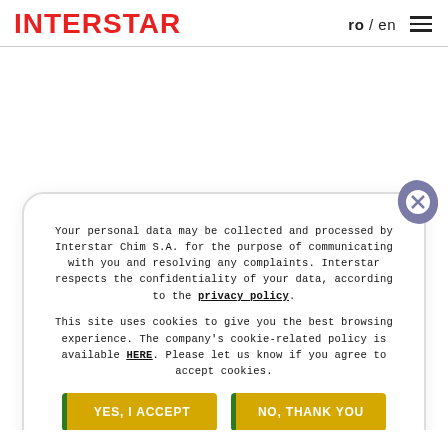INTERSTAR   ro / en  ☰
Your personal data may be collected and processed by Interstar Chim S.A. for the purpose of communicating with you and resolving any complaints. Interstar respects the confidentiality of your data, according to the privacy policy.

This site uses cookies to give you the best browsing experience. The company's cookie-related policy is available HERE. Please let us know if you agree to accept cookies.
YES, I ACCEPT
NO, THANK YOU